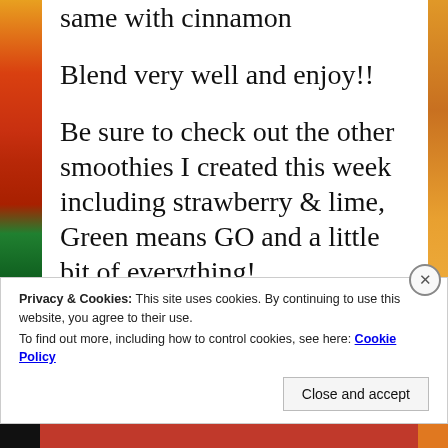same with cinnamon
Blend very well and enjoy!!
Be sure to check out the other smoothies I created this week including strawberry & lime, Green means GO and a little bit of everything!
Privacy & Cookies: This site uses cookies. By continuing to use this website, you agree to their use.
To find out more, including how to control cookies, see here: Cookie Policy
Close and accept